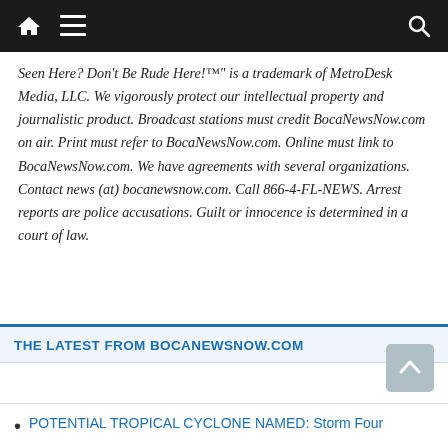Navigation bar with home, menu, and search icons
Seen Here? Don't Be Rude Here!™" is a trademark of MetroDesk Media, LLC. We vigorously protect our intellectual property and journalistic product. Broadcast stations must credit BocaNewsNow.com on air. Print must refer to BocaNewsNow.com. Online must link to BocaNewsNow.com. We have agreements with several organizations. Contact news (at) bocanewsnow.com. Call 866-4-FL-NEWS. Arrest reports are police accusations. Guilt or innocence is determined in a court of law.
THE LATEST FROM BOCANEWSNOW.COM
POTENTIAL TROPICAL CYCLONE NAMED: Storm Four